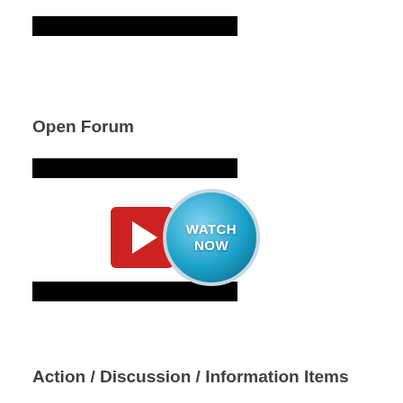[Figure (other): Redacted black bar at top]
Open Forum
[Figure (other): Redacted black bar]
[Figure (other): Watch Now button with red play icon and blue circular badge]
[Figure (other): Redacted black bar]
Action / Discussion / Information Items